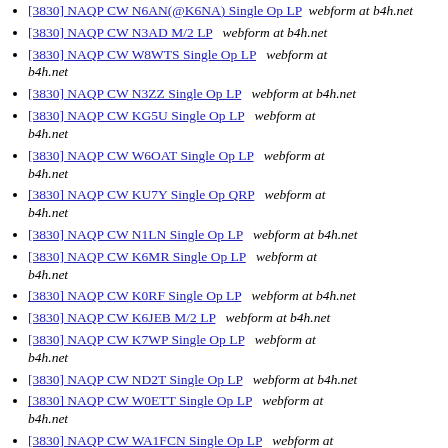[3830] NAQP CW N6AN(@K6NA) Single Op LP  webform at b4h.net
[3830] NAQP CW N3AD M/2 LP  webform at b4h.net
[3830] NAQP CW W8WTS Single Op LP  webform at b4h.net
[3830] NAQP CW N3ZZ Single Op LP  webform at b4h.net
[3830] NAQP CW KG5U Single Op LP  webform at b4h.net
[3830] NAQP CW W6OAT Single Op LP  webform at b4h.net
[3830] NAQP CW KU7Y Single Op QRP  webform at b4h.net
[3830] NAQP CW N1LN Single Op LP  webform at b4h.net
[3830] NAQP CW K6MR Single Op LP  webform at b4h.net
[3830] NAQP CW K0RF Single Op LP  webform at b4h.net
[3830] NAQP CW K6JEB M/2 LP  webform at b4h.net
[3830] NAQP CW K7WP Single Op LP  webform at b4h.net
[3830] NAQP CW ND2T Single Op LP  webform at b4h.net
[3830] NAQP CW W0ETT Single Op LP  webform at b4h.net
[3830] NAQP CW WA1FCN Single Op LP  webform at b4h.net
[3830] NAQP CW W0YK Single Op LP  webform at b4h.net